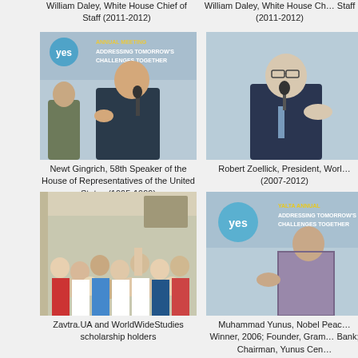William Daley, White House Chief of Staff (2011-2012)
William Daley, White House Chief of Staff (2011-2012)
[Figure (photo): Newt Gingrich speaking at a conference with YES Annual Meeting banner in background]
Newt Gingrich, 58th Speaker of the House of Representatives of the United States (1995-1999)
[Figure (photo): Robert Zoellick speaking at a conference event]
Robert Zoellick, President, World Bank (2007-2012)
[Figure (photo): Zavtra.UA and WorldWideStudies scholarship holders at an event]
Zavtra.UA and WorldWideStudies scholarship holders
[Figure (photo): Muhammad Yunus speaking at YES Annual Meeting with banner in background]
Muhammad Yunus, Nobel Peace Prize Winner, 2006; Founder, Grameen Bank; Chairman, Yunus Centre